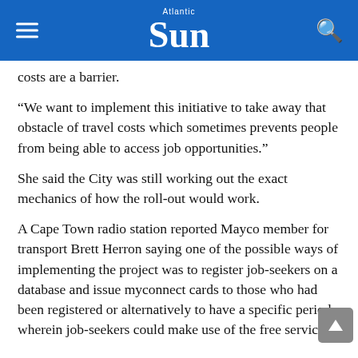Atlantic Sun
costs are a barrier.
“We want to implement this initiative to take away that obstacle of travel costs which sometimes prevents people from being able to access job opportunities.”
She said the City was still working out the exact mechanics of how the roll-out would work.
A Cape Town radio station reported Mayco member for transport Brett Herron saying one of the possible ways of implementing the project was to register job-seekers on a database and issue myconnect cards to those who had been registered or alternatively to have a specific period wherein job-seekers could make use of the free service.